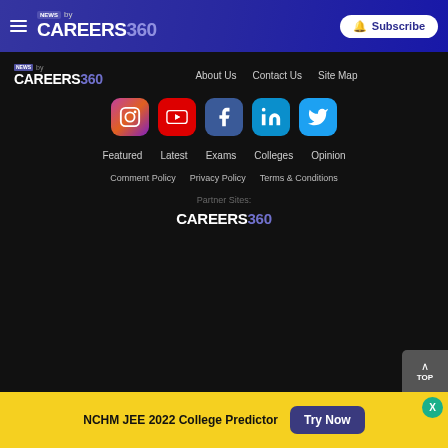NEWS by CAREERS360 | Subscribe
[Figure (logo): Careers360 News logo in footer]
About Us   Contact Us   Site Map
[Figure (infographic): Social media icons: Instagram, YouTube, Facebook, LinkedIn, Twitter]
Featured   Latest   Exams   Colleges   Opinion
Comment Policy   Privacy Policy   Terms & Conditions
Partner Sites:
[Figure (logo): CAREERS360 partner site logo]
NCHM JEE 2022 College Predictor   Try Now